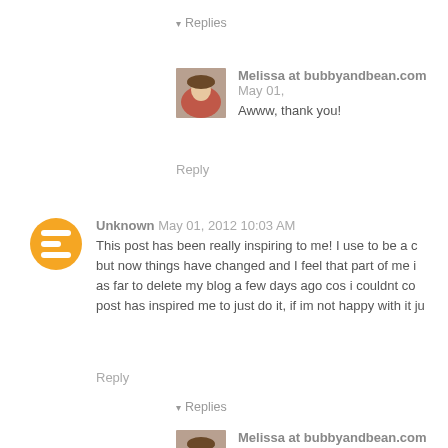▾ Replies
Melissa at bubbyandbean.com   May 01,
Awww, thank you!
Reply
Unknown   May 01, 2012 10:03 AM
This post has been really inspiring to me! I use to be a c but now things have changed and I feel that part of me i as far to delete my blog a few days ago cos i couldnt co post has inspired me to just do it, if im not happy with it ju
Reply
▾ Replies
Melissa at bubbyandbean.com   May 01,
It's difficult not to put pressure on ourselves wh counterproductive. I think doing what you want that creative energy to reappear. Good luck to y
Reply